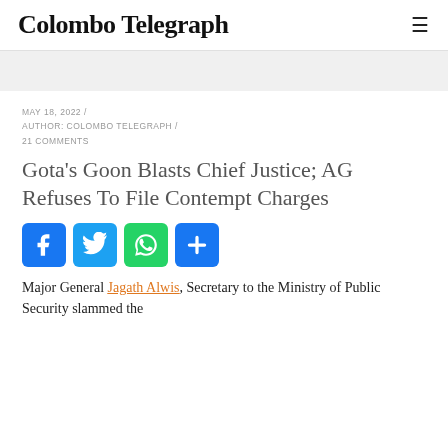Colombo Telegraph
MAY 18, 2022 / AUTHOR: COLOMBO TELEGRAPH / 21 COMMENTS
Gota's Goon Blasts Chief Justice; AG Refuses To File Contempt Charges
[Figure (other): Social media share buttons: Facebook, Twitter, WhatsApp, Share]
Major General Jagath Alwis, Secretary to the Ministry of Public Security slammed the